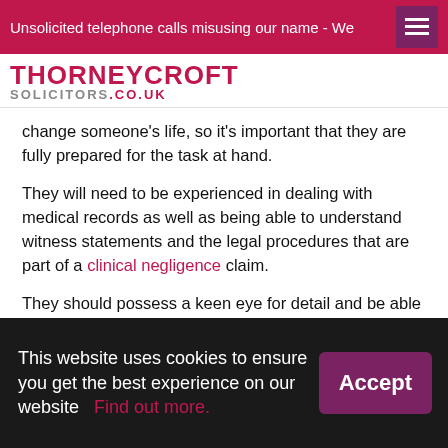Unsolicited telephone calls misusing our name - We
THORNEYCROFT SOLICITORS.CO.UK
change someone's life, so it's important that they are fully prepared for the task at hand.
They will need to be experienced in dealing with medical records as well as being able to understand witness statements and the legal procedures that are part of a clinical negligence claim.
They should possess a keen eye for detail and be able to present their findings clearly and succinctly.
Conclusion
This website uses cookies to ensure you get the best experience on our website   Find out more.